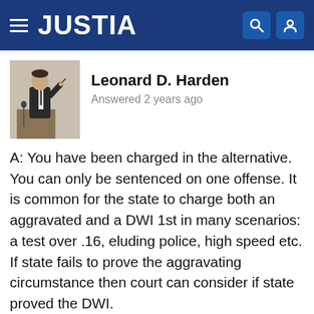JUSTIA
[Figure (photo): Photo of Leonard D. Harden, a man in a suit speaking at a podium]
Leonard D. Harden
Answered 2 years ago
A: You have been charged in the alternative. You can only be sentenced on one offense. It is common for the state to charge both an aggravated and a DWI 1st in many scenarios: a test over .16, eluding police, high speed etc. If state fails to prove the aggravating circumstance then court can consider if state proved the DWI.
A DWI 1st carries no possibility of jail and an aggravated has a mandatory minimum jail sentence, longer loss of license and higher fine. This means that a Aggravated